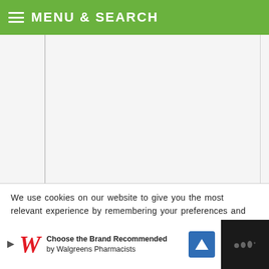MENU & SEARCH
[Figure (screenshot): Grey content panel with vertical border lines on left and right sides]
We use cookies on our website to give you the most relevant experience by remembering your preferences and repeat visits. By clicking “Accept”, you consent to the use of ALL the cookies.
Do not sell my personal information
[Figure (screenshot): Advertisement bar: Walgreens ad with logo, navigation icon, and app icon on dark background. Text reads: Choose the Brand Recommended by Walgreens Pharmacists]